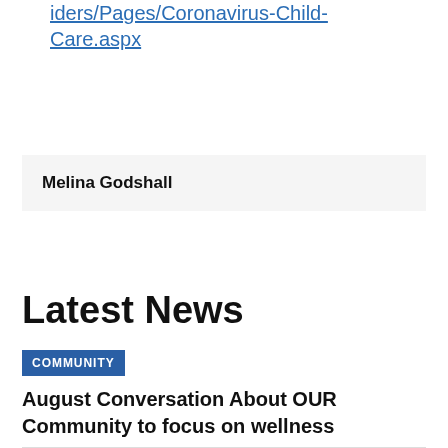iders/Pages/Coronavirus-Child-Care.aspx
Melina Godshall
Latest News
COMMUNITY
August Conversation About OUR Community to focus on wellness